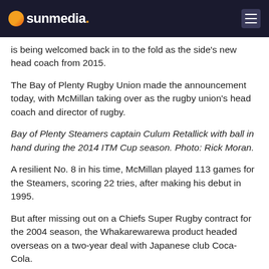sunmedia
is being welcomed back in to the fold as the side's new head coach from 2015.
The Bay of Plenty Rugby Union made the announcement today, with McMillan taking over as the rugby union's head coach and director of rugby.
Bay of Plenty Steamers captain Culum Retallick with ball in hand during the 2014 ITM Cup season. Photo: Rick Moran.
A resilient No. 8 in his time, McMillan played 113 games for the Steamers, scoring 22 tries, after making his debut in 1995.
But after missing out on a Chiefs Super Rugby contract for the 2004 season, the Whakarewarewa product headed overseas on a two-year deal with Japanese club Coca-Cola.
In 2011 he was appointed head coach of Wellington club side Marist St Pats after previously being the Bay of